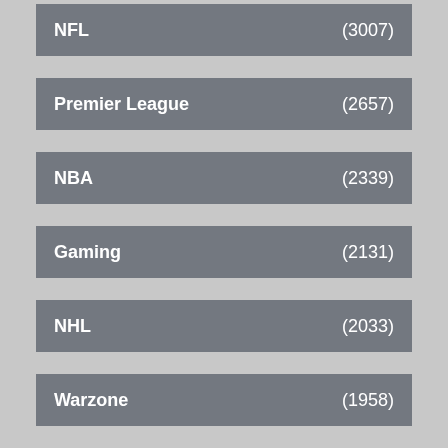NFL (3007)
Premier League (2657)
NBA (2339)
Gaming (2131)
NHL (2033)
Warzone (1958)
MLB (1878)